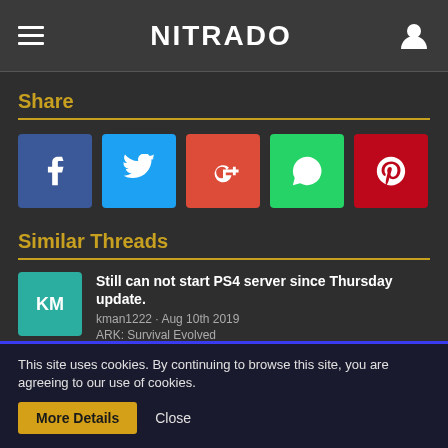NITRADO
Share
[Figure (infographic): Social share buttons row: Facebook (blue), Twitter (light blue), Google+ (red), WhatsApp (green), Pinterest (dark red)]
Similar Threads
Still can not start PS4 server since Thursday update. kman1222 · Aug 10th 2019 ARK: Survival Evolved
ARK XBox Server Issue
This site uses cookies. By continuing to browse this site, you are agreeing to our use of cookies.